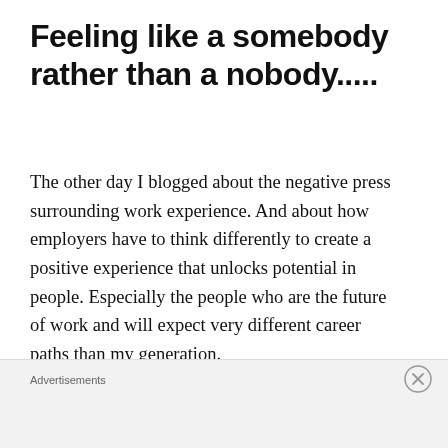Feeling like a somebody rather than a nobody.....
The other day I blogged about the negative press surrounding work experience. And about how employers have to think differently to create a positive experience that unlocks potential in people. Especially the people who are the future of work and will expect very different career paths than my generation.
Quite by chance , Marie – one of our newest Opportunities4Employment placements
Advertisements